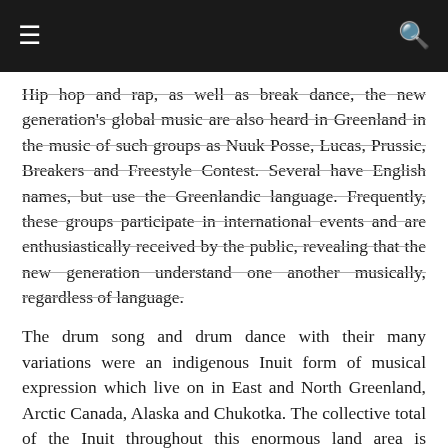≡  🔍
Hip hop and rap, as well as break dance, the new generation's global music are also heard in Greenland in the music of such groups as Nuuk Posse, Lucas, Prussic, Breakers and Freestyle Contest. Several have English names, but use the Greenlandic language. Frequently, these groups participate in international events and are enthusiastically received by the public, revealing that the new generation understand one another musically, regardless of language.
The drum song and drum dance with their many variations were an indigenous Inuit form of musical expression which live on in East and North Greenland, Arctic Canada, Alaska and Chukotka. The collective total of the Inuit throughout this enormous land area is surprisingly small, at about 100,000 compared to the smaller island of Iceland to the east where there are just under 300,000 inhabitants.
The challenge for Greenland and the Inuit folk is the preservation and further development of the indigenous culture and music despite the massive influence of the globalized continental mass